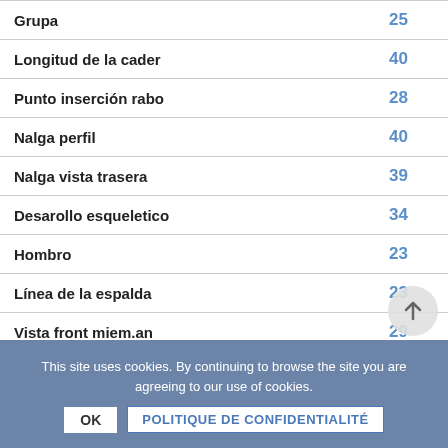| Característica | Valor |
| --- | --- |
| Grupa | 25 |
| Longitud de la cader | 40 |
| Punto inserción rabo | 28 |
| Nalga perfil | 40 |
| Nalga vista trasera | 39 |
| Desarollo esqueletico | 34 |
| Hombro | 23 |
| Línea de la espalda | 23 |
| Vista front miem.an | 29 |
| Cuartilla ant perfil | 29 |
| Vista frent miel.po | 23 |
| Cuartilla post perfil | 25 |
This site uses cookies. By continuing to browse the site you are agreeing to our use of cookies.
OK | POLITIQUE DE CONFIDENTIALITÉ